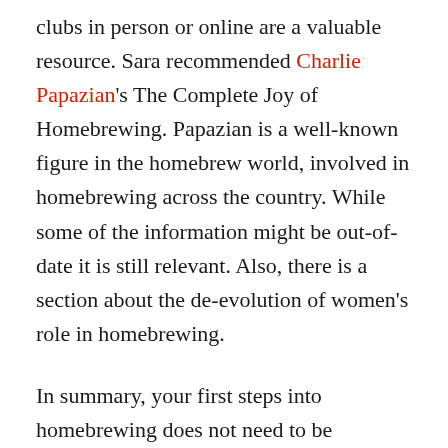clubs in person or online are a valuable resource. Sara recommended Charlie Papazian's The Complete Joy of Homebrewing. Papazian is a well-known figure in the homebrew world, involved in homebrewing across the country. While some of the information might be out-of-date it is still relevant. Also, there is a section about the de-evolution of women's role in homebrewing.
In summary, your first steps into homebrewing does not need to be intimidating. Joining a local homebrew club, officially or unofficially, will provide you with a support network, information, and access to reduced price supplies to succeed toward any goal, whether as